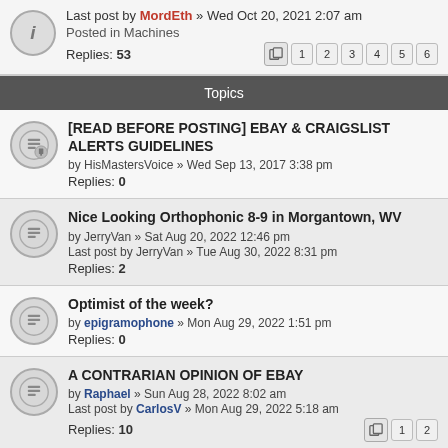Last post by MordEth » Wed Oct 20, 2021 2:07 am
Posted in Machines
Replies: 53
Topics
[READ BEFORE POSTING] EBAY & CRAIGSLIST ALERTS GUIDELINES
by HisMastersVoice » Wed Sep 13, 2017 3:38 pm
Replies: 0
Nice Looking Orthophonic 8-9 in Morgantown, WV
by JerryVan » Sat Aug 20, 2022 12:46 pm
Last post by JerryVan » Tue Aug 30, 2022 8:31 pm
Replies: 2
Optimist of the week?
by epigramophone » Mon Aug 29, 2022 1:51 pm
Replies: 0
A CONTRARIAN OPINION OF EBAY
by Raphael » Sun Aug 28, 2022 8:02 am
Last post by CarlosV » Mon Aug 29, 2022 5:18 am
Replies: 10